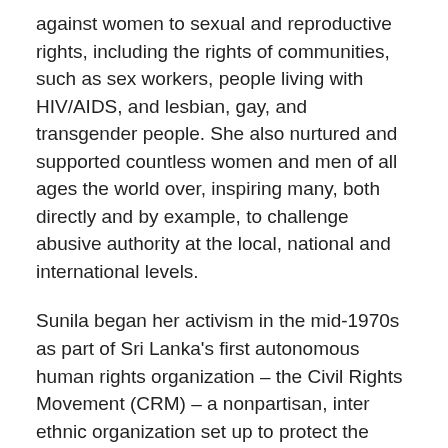against women to sexual and reproductive rights, including the rights of communities, such as sex workers, people living with HIV/AIDS, and lesbian, gay, and transgender people. She also nurtured and supported countless women and men of all ages the world over, inspiring many, both directly and by example, to challenge abusive authority at the local, national and international levels.
Sunila began her activism in the mid-1970s as part of Sri Lanka's first autonomous human rights organization – the Civil Rights Movement (CRM) – a nonpartisan, inter ethnic organization set up to protect the rights of young men and women who led the 1971 youth movement. Since then she was a key member of numerous civil society groups as a feminist leader, an advocate, a resource person and a trainer.